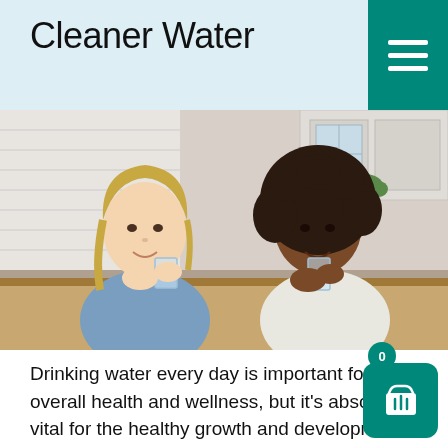Cleaner Water
[Figure (photo): Two young girls sitting at a kitchen table, each drinking a glass of water and smiling at each other. Kitchen background with white cabinets and plants.]
Drinking water every day is important for our overall health and wellness, but it's absolutely vital for the healthy growth and development of young children. Of course, children's drinking water should be as clean as possible, due to their unique nutritional needs and